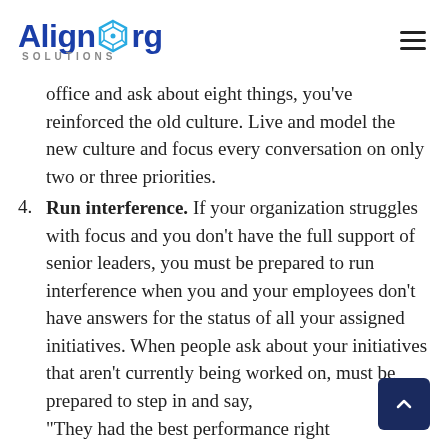AlignOrg SOLUTIONS
office and ask about eight things, you've reinforced the old culture. Live and model the new culture and focus every conversation on only two or three priorities.
Run interference. If your organization struggles with focus and you don't have the full support of senior leaders, you must be prepared to run interference when you and your employees don't have answers for the status of all your assigned initiatives. When people ask about your initiatives that aren't currently being worked on, must be prepared to step in and say, "They had the best performance right..."